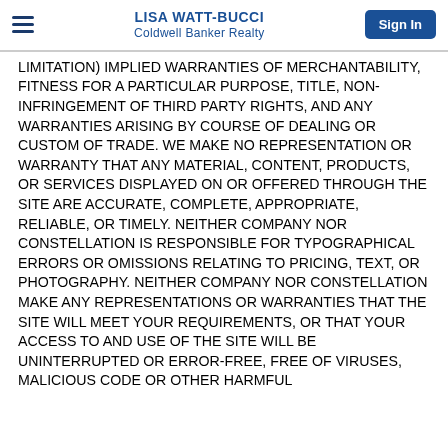LISA WATT-BUCCI
Coldwell Banker Realty
LIMITATION) IMPLIED WARRANTIES OF MERCHANTABILITY, FITNESS FOR A PARTICULAR PURPOSE, TITLE, NON-INFRINGEMENT OF THIRD PARTY RIGHTS, AND ANY WARRANTIES ARISING BY COURSE OF DEALING OR CUSTOM OF TRADE. WE MAKE NO REPRESENTATION OR WARRANTY THAT ANY MATERIAL, CONTENT, PRODUCTS, OR SERVICES DISPLAYED ON OR OFFERED THROUGH THE SITE ARE ACCURATE, COMPLETE, APPROPRIATE, RELIABLE, OR TIMELY. NEITHER COMPANY NOR CONSTELLATION IS RESPONSIBLE FOR TYPOGRAPHICAL ERRORS OR OMISSIONS RELATING TO PRICING, TEXT, OR PHOTOGRAPHY. NEITHER COMPANY NOR CONSTELLATION MAKE ANY REPRESENTATIONS OR WARRANTIES THAT THE SITE WILL MEET YOUR REQUIREMENTS, OR THAT YOUR ACCESS TO AND USE OF THE SITE WILL BE UNINTERRUPTED OR ERROR-FREE, FREE OF VIRUSES, MALICIOUS CODE OR OTHER HARMFUL...